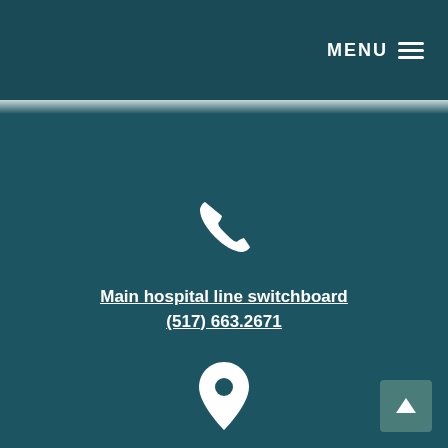MENU ≡
[Figure (illustration): White phone handset icon on dark teal background]
Main hospital line switchboard
(517) 663.2671
[Figure (illustration): White location pin / map marker icon on dark teal background]
1500 S. Main Street